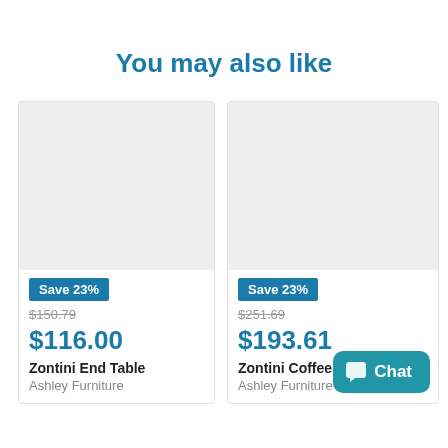You may also like
[Figure (other): Product card for Zontini End Table - grey placeholder image with Save 23% badge]
Save 23%
$150.79
$116.00
Zontini End Table
Ashley Furniture
[Figure (other): Product card for Zontini Coffee Table - grey placeholder image with Save 23% badge]
Save 23%
$251.69
$193.61
Zontini Coffee Table
Ashley Furniture
Chat